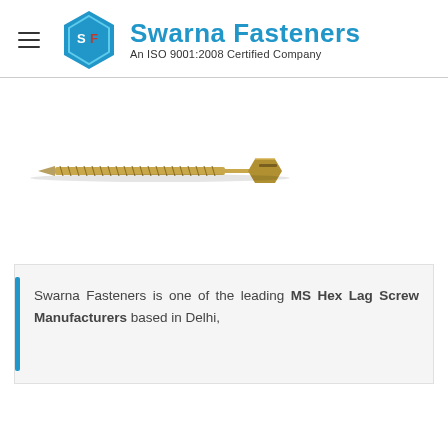Swarna Fasteners — An ISO 9001:2008 Certified Company
[Figure (photo): Photograph of a MS Hex Lag Screw showing threaded shank and hexagonal head, positioned horizontally on white background]
Swarna Fasteners is one of the leading MS Hex Lag Screw Manufacturers based in Delhi,